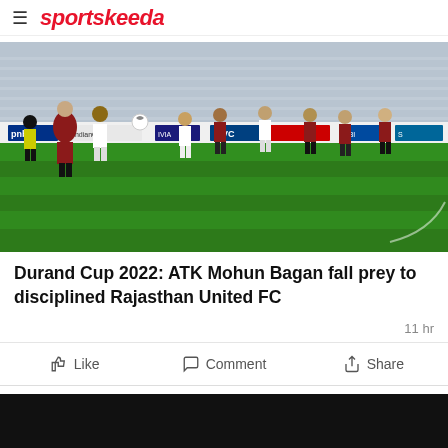sportskeeda
[Figure (photo): Football match action shot showing players from ATK Mohun Bagan (maroon and green stripes) and Rajasthan United FC (white) competing for the ball, with stadium advertising boards visible in background including PNB and IndianOil logos, night match under floodlights on green grass.]
Durand Cup 2022: ATK Mohun Bagan fall prey to disciplined Rajasthan United FC
11 hr
Like   Comment   Share
[Figure (photo): Partially visible second article image, appears dark/night scene.]